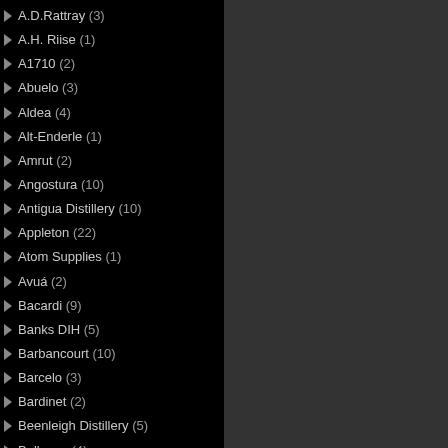A.D.Rattray (3)
A.H. Riise (1)
A1710 (2)
Abuelo (3)
Aldea (4)
Alt-Enderle (1)
Amrut (2)
Angostura (10)
Antigua Distillery (10)
Appleton (22)
Atom Supplies (1)
Avuá (2)
Bacardi (9)
Banks DIH (5)
Barbancourt (10)
Barcelo (3)
Bardinet (2)
Beenleigh Distillery (5)
Bellevue (4)
Bermudez (2)